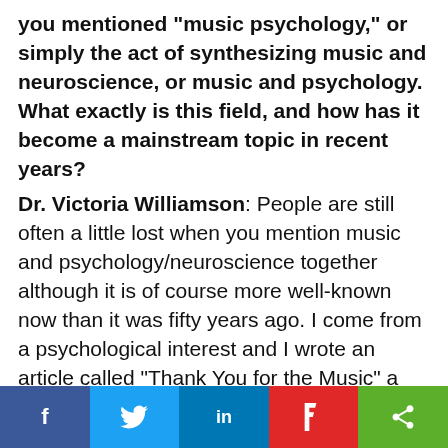you mentioned "music psychology," or simply the act of synthesizing music and neuroscience, or music and psychology. What exactly is this field, and how has it become a mainstream topic in recent years?
Dr. Victoria Williamson: People are still often a little lost when you mention music and psychology/neuroscience together although it is of course more well-known now than it was fifty years ago. I come from a psychological interest and I wrote an article called "Thank You for the Music" a few years ago that outlined the kind of things that are studied in this
[Figure (infographic): Social sharing bar with Facebook, Twitter, LinkedIn, Flipboard, and Share buttons]